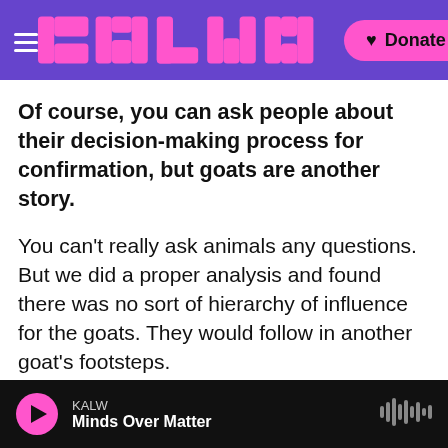KALW — Header navigation with logo and Donate button
Of course, you can ask people about their decision-making process for confirmation, but goats are another story.
You can't really ask animals any questions. But we did a proper analysis and found there was no sort of hierarchy of influence for the goats. They would follow in another goat's footsteps.
So is it a stretch to say, hmm, that the way goats behave might have things in common with the way humans make decisions about a variety of things. Like ... vaccines.
KALW — Minds Over Matter (audio player)